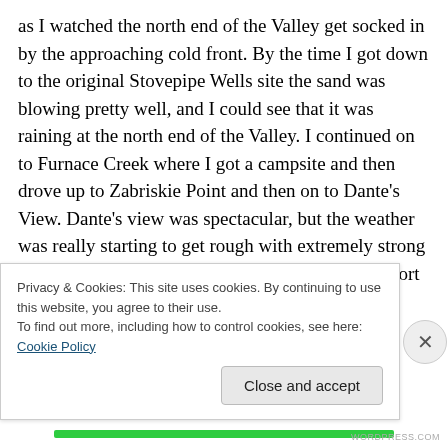as I watched the north end of the Valley get socked in by the approaching cold front. By the time I got down to the original Stovepipe Wells site the sand was blowing pretty well, and I could see that it was raining at the north end of the Valley. I continued on to Furnace Creek where I got a campsite and then drove up to Zabriskie Point and then on to Dante's View. Dante's view was spectacular, but the weather was really starting to get rough with extremely strong winds and rain starting, so I only stayed there a short time before heading back to my Furnace Creek campsite.
Privacy & Cookies: This site uses cookies. By continuing to use this website, you agree to their use.
To find out more, including how to control cookies, see here: Cookie Policy